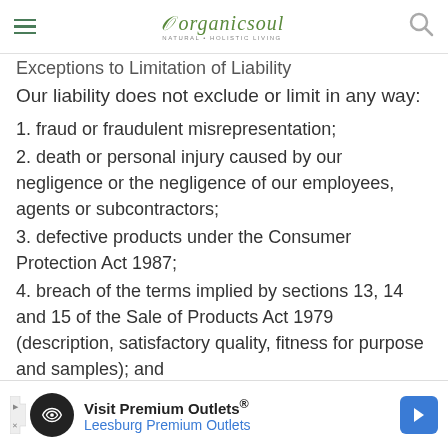organicsoul — NATURAL + HOLISTIC LIVING
Exceptions to Limitation of Liability
Our liability does not exclude or limit in any way:
1. fraud or fraudulent misrepresentation;
2. death or personal injury caused by our negligence or the negligence of our employees, agents or subcontractors;
3. defective products under the Consumer Protection Act 1987;
4. breach of the terms implied by sections 13, 14 and 15 of the Sale of Products Act 1979 (description, satisfactory quality, fitness for purpose and samples); and
5. breach of the terms implied by section 12 of the Sale of Products Act 1979 (title and
[Figure (other): Advertisement banner: Visit Premium Outlets® — Leesburg Premium Outlets]